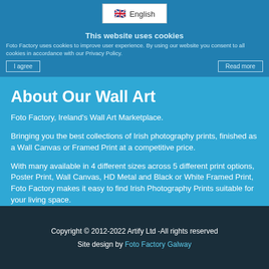This website uses cookies
Foto Factory uses cookies to improve user experience. By using our website you consent to all cookies in accordance with our Privacy Policy.
About Our Wall Art
Foto Factory, Ireland's Wall Art Marketplace.
Bringing you the best collections of Irish photography prints, finished as a Wall Canvas or Framed Print at a competitive price.
With many available in 4 different sizes across 5 different print options, Poster Print, Wall Canvas, HD Metal and Black or White Framed Print, Foto Factory makes it easy to find Irish Photography Prints suitable for your living space.
Every order is made to the highest standard of craftsmanship and is custom made to suit your requirements.
Our team is on standby for any questions you may have as Wall Canvas lovers to Framed Print collectors. We are here to help you when choosing Irish Photography Prints, whether home decoration or interior design.
Copyright © 2012-2022 Artify Ltd -All rights reserved
Site design by Foto Factory Galway